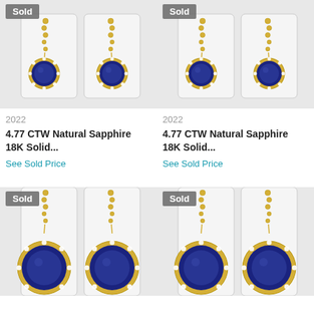[Figure (photo): Photo of sapphire drop earrings with diamond halo on white display stand, 'Sold' badge top left]
[Figure (photo): Photo of sapphire drop earrings with diamond halo on white display stand, 'Sold' badge top left]
2022
2022
4.77 CTW Natural Sapphire 18K Solid...
4.77 CTW Natural Sapphire 18K Solid...
See Sold Price
See Sold Price
[Figure (photo): Photo of sapphire drop earrings with diamond halo on white display stand, 'Sold' badge top left]
[Figure (photo): Photo of sapphire drop earrings with diamond halo on white display stand, 'Sold' badge top left]